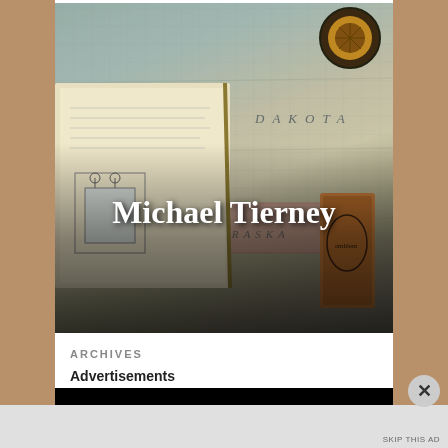[Figure (photo): Book cover image showing an open book with scientific illustrations on a vintage map background, leather bookmark, and goggles. Author name 'Michael Tierney' overlaid in white text with subtitle 'An Airship Flamel Adventure' on black bar at bottom.]
ARCHIVES
Advertisements
SKIP THIS AD